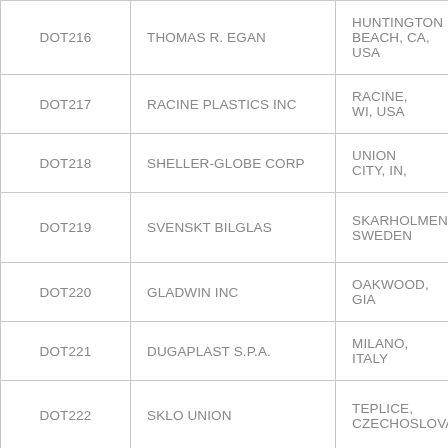| Code | Name | Location |
| --- | --- | --- |
| DOT216 | THOMAS R. EGAN | HUNTINGTON BEACH, CA, USA |
| DOT217 | RACINE PLASTICS INC | RACINE, WI, USA |
| DOT218 | SHELLER-GLOBE CORP | UNION CITY, IN, |
| DOT219 | SVENSKT BILGLAS | SKARHOLMEN, SWEDEN |
| DOT220 | GLADWIN INC | OAKWOOD, GIA |
| DOT221 | DUGAPLAST S.P.A. | MILANO, ITALY |
| DOT222 | SKLO UNION | TEPLICE, CZECHOSLOVAK |
| DOT223 | THE ROTUBA EXTRUDERS INC | LINDEN, NJ, USA |